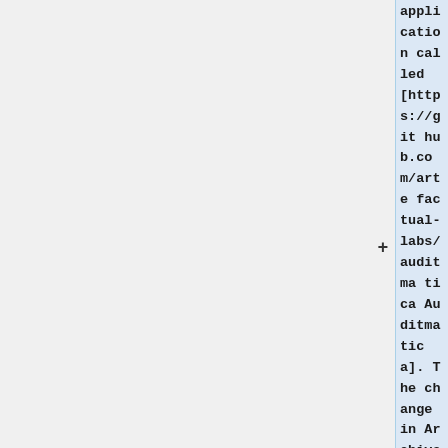application called [https://github.com/artefactual-labs/auditmatica Auditmatica]. The change in Archivematica and the Storage Service is only to facilitate the capture of audit logging information in other applications